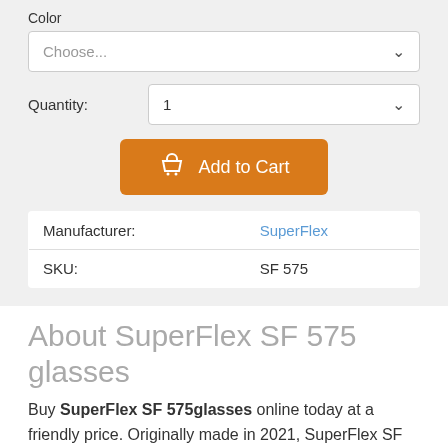Color
Choose...
Quantity:
1
Add to Cart
| Manufacturer: | SuperFlex |
| SKU: | SF 575 |
About SuperFlex SF 575 glasses
Buy SuperFlex SF 575glasses online today at a friendly price. Originally made in 2021, SuperFlex SF 575 glasses are lightweight metal frames. They are comfortable to wear and are designed in signature SuperFlex glasses frame style.
Each pair of these authentic SuperFlex glasses ships worldwide with authenticity certificate, SuperFlex case and a